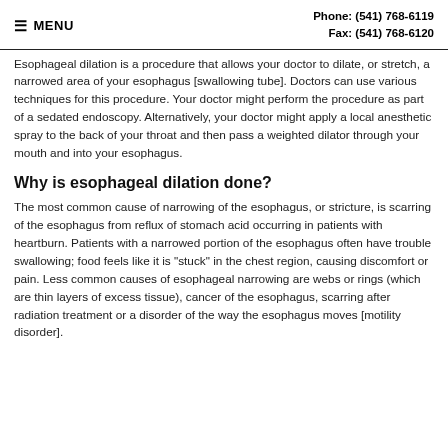≡ MENU   Phone: (541) 768-6119  Fax: (541) 768-6120
Esophageal dilation is a procedure that allows your doctor to dilate, or stretch, a narrowed area of your esophagus [swallowing tube]. Doctors can use various techniques for this procedure. Your doctor might perform the procedure as part of a sedated endoscopy. Alternatively, your doctor might apply a local anesthetic spray to the back of your throat and then pass a weighted dilator through your mouth and into your esophagus.
Why is esophageal dilation done?
The most common cause of narrowing of the esophagus, or stricture, is scarring of the esophagus from reflux of stomach acid occurring in patients with heartburn. Patients with a narrowed portion of the esophagus often have trouble swallowing; food feels like it is "stuck" in the chest region, causing discomfort or pain. Less common causes of esophageal narrowing are webs or rings (which are thin layers of excess tissue), cancer of the esophagus, scarring after radiation treatment or a disorder of the way the esophagus moves [motility disorder].